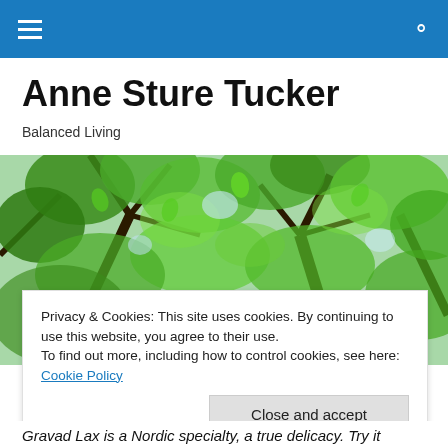Navigation bar with hamburger menu and search icon
Anne Sture Tucker
Balanced Living
[Figure (photo): Green tree foliage photographed from below looking up, dense green leaves with branches against a bright sky]
Privacy & Cookies: This site uses cookies. By continuing to use this website, you agree to their use.
To find out more, including how to control cookies, see here: Cookie Policy
Close and accept
Gravad Lax is a Nordic specialty, a true delicacy. Try it